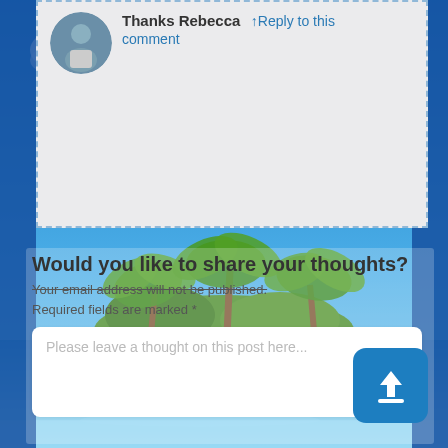[Figure (screenshot): Website comment section with user avatar, bold name 'Thanks Rebecca', reply link, and comment link. Below is a tropical beach background with palm trees, blue sky, and shallow water.]
Thanks Rebecca
Reply to this comment
Would you like to share your thoughts?
Your email address will not be published.
Required fields are marked *
Please leave a thought on this post here...